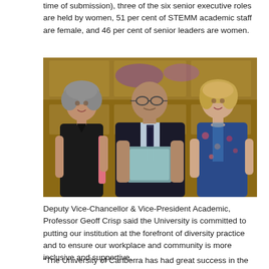time of submission), three of the six senior executive roles are held by women, 51 per cent of STEMM academic staff are female, and 46 per cent of senior leaders are women.
[Figure (photo): Three people standing together posing for a photo in front of wooden panelling with purple lights. The person in the centre, a tall bald man wearing a dark suit and patterned tie, holds a glass award plaque. To his left is a woman with curly grey hair wearing a black sleeveless dress. To his right is a woman with blonde hair wearing a blue floral jacket.]
Deputy Vice-Chancellor & Vice-President Academic, Professor Geoff Crisp said the University is committed to putting our institution at the forefront of diversity practice and to ensure our workplace and community is more inclusive and supportive.
“The University of Canberra has had great success in the gender